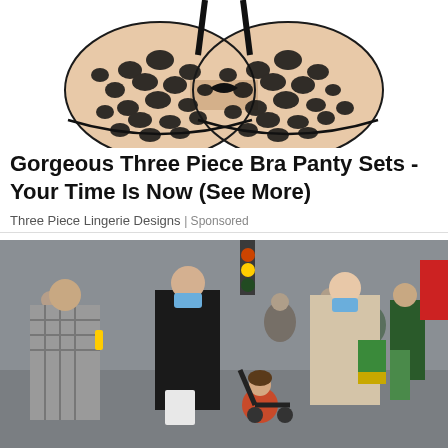[Figure (photo): Black lace bra product photo on white background, partially cropped at top]
Gorgeous Three Piece Bra Panty Sets - Your Time Is Now (See More)
Three Piece Lingerie Designs | Sponsored
[Figure (photo): Street photo of people walking outdoors, two women wearing blue face masks, one pushing a stroller with a child in red jacket, various pedestrians in background with urban street setting]